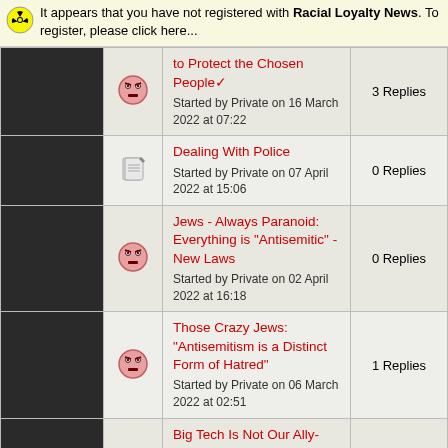It appears that you have not registered with Racial Loyalty News. To register, please click here...
to Protect the Chosen People✓ - Started by Private on 16 March 2022 at 07:22 - 3 Replies
Dealing With Police - Started by Private on 07 April 2022 at 15:06 - 0 Replies
Jews - Always Paranoid: Everything is "Antisemitic" - New Laws - Started by Private on 02 April 2022 at 16:18 - 0 Replies
Those Crazy Jews: "Antisemitism is a Distinct Form of Hatred" - Started by Private on 06 March 2022 at 02:51 - 1 Replies
Big Tech Is Not Our Ally- Robert Ley: The Forgotten Anti-Capitalism of The NSDAP - Started by Private on 23 January 2022 - 2 Replies